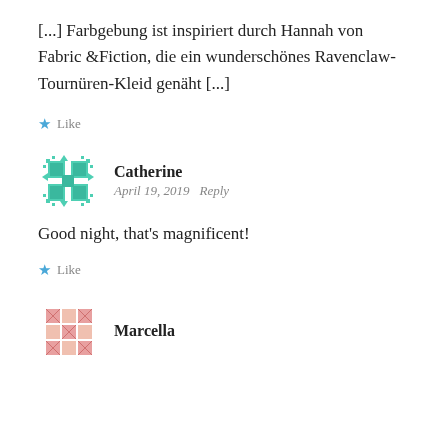[...] Farbgebung ist inspiriert durch Hannah von Fabric &Fiction, die ein wunderschönes Ravenclaw-Tournüren-Kleid genäht [...]
★ Like
[Figure (illustration): Green decorative avatar icon with geometric diamond/cross pattern]
Catherine
April 19, 2019   Reply
Good night, that's magnificent!
★ Like
[Figure (illustration): Pink/salmon decorative avatar icon with geometric quilt/patchwork pattern]
Marcella